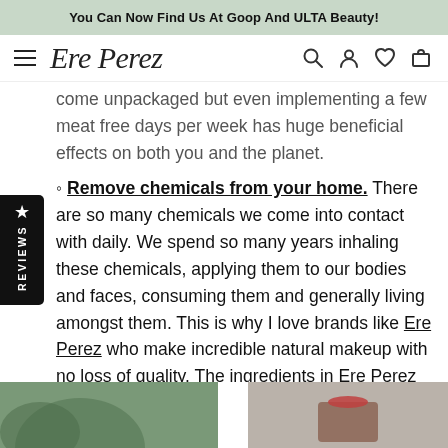You Can Now Find Us At Goop And ULTA Beauty!
Ere Perez (logo/navigation)
come unpackaged but even implementing a few meat free days per week has huge beneficial effects on both you and the planet.
◦ Remove chemicals from your home. There are so many chemicals we come into contact with daily. We spend so many years inhaling these chemicals, applying them to our bodies and faces, consuming them and generally living amongst them. This is why I love brands like Ere Perez who make incredible natural makeup with no loss of quality. The ingredients in Ere Perez actually benefit your skin health and will not create skin issues or age you prematurely.
[Figure (photo): Two product images at the bottom of the page, left showing a green product and right showing a red/dark product]